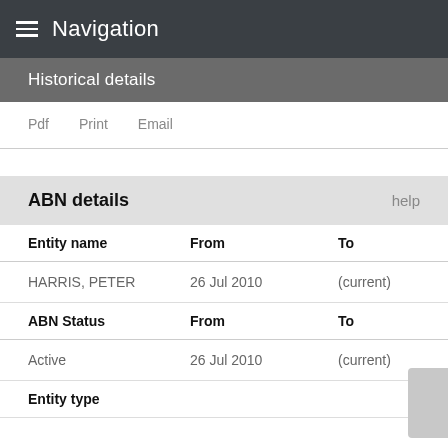Navigation
Historical details
Pdf   Print   Email
| ABN details |  | help |
| --- | --- | --- |
| Entity name | From | To |
| HARRIS, PETER | 26 Jul 2010 | (current) |
| ABN Status | From | To |
| Active | 26 Jul 2010 | (current) |
| Entity type |  |  |